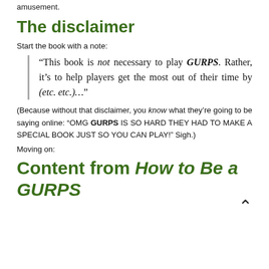amusement.
The disclaimer
Start the book with a note:
“This book is not necessary to play GURPS. Rather, it’s to help players get the most out of their time by (etc. etc.)…”
(Because without that disclaimer, you know what they’re going to be saying online: “OMG GURPS IS SO HARD THEY HAD TO MAKE A SPECIAL BOOK JUST SO YOU CAN PLAY!” Sigh.)
Moving on:
Content from How to Be a GURPS